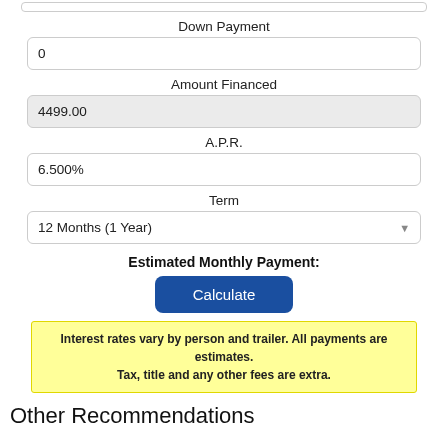Down Payment
0
Amount Financed
4499.00
A.P.R.
6.500%
Term
12 Months (1 Year)
Estimated Monthly Payment:
Calculate
Interest rates vary by person and trailer. All payments are estimates. Tax, title and any other fees are extra.
Other Recommendations